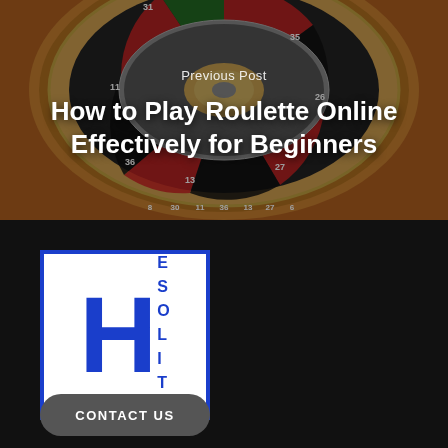[Figure (photo): Roulette wheel close-up photo used as background image for a blog post navigation card]
Previous Post
How to Play Roulette Online Effectively for Beginners
[Figure (logo): Hesolite logo: blue letter H with ESOLITE text stacked vertically on the right, inside a white box with blue border]
CONTACT US